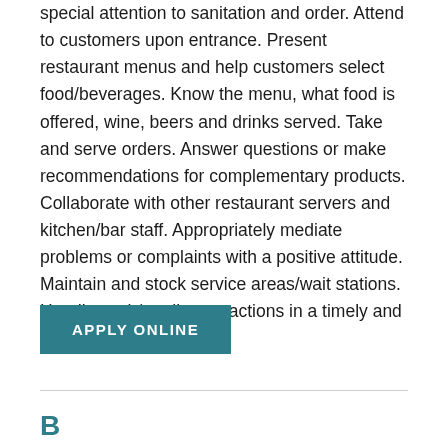special attention to sanitation and order. Attend to customers upon entrance. Present restaurant menus and help customers select food/beverages. Know the menu, what food is offered, wine, beers and drinks served. Take and serve orders. Answer questions or make recommendations for complementary products. Collaborate with other restaurant servers and kitchen/bar staff. Appropriately mediate problems or complaints with a positive attitude. Maintain and stock service areas/wait stations. Handle cash/credit transactions in a timely and efficient manner.
APPLY ONLINE
B...